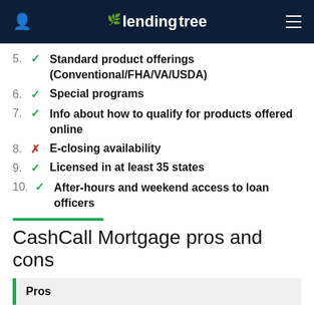lendingtree
5. ✓ Standard product offerings (Conventional/FHA/VA/USDA)
6. ✓ Special programs
7. ✓ Info about how to qualify for products offered online
8. ✗ E-closing availability
9. ✓ Licensed in at least 35 states
10. ✓ After-hours and weekend access to loan officers
CashCall Mortgage pros and cons
Pros